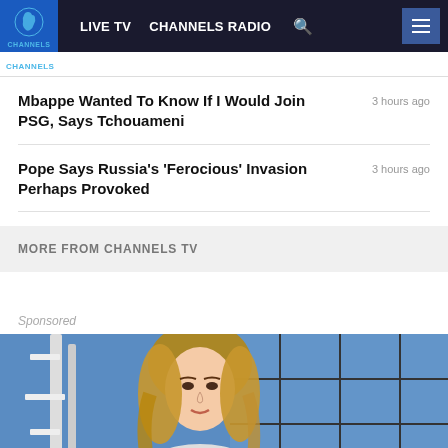LIVE TV  CHANNELS RADIO  [search]  [menu]
Mbappe Wanted To Know If I Would Join PSG, Says Tchouameni — 3 hours ago
Pope Says Russia's 'Ferocious' Invasion Perhaps Provoked — 3 hours ago
MORE FROM CHANNELS TV
Sponsored
[Figure (photo): A woman with blonde hair appears in front of a blue windowed background with white decorative elements]